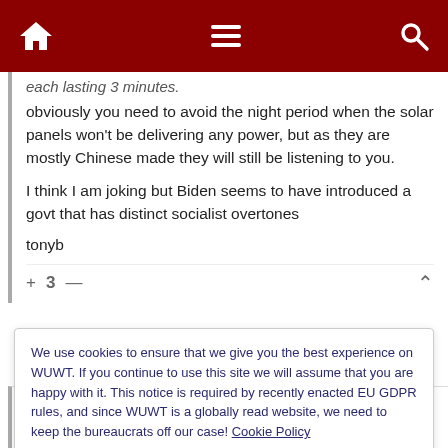[Figure (screenshot): Red navigation bar with home icon, hamburger menu, and search icon]
each lasting 3 minutes.
obviously you need to avoid the night period when the solar panels won't be delivering any power, but as they are mostly Chinese made they will still be listening to you.
I think I am joking but Biden seems to have introduced a govt that has distinct socialist overtones
tonyb
+ 3 —
We use cookies to ensure that we give you the best experience on WUWT. If you continue to use this site we will assume that you are happy with it. This notice is required by recently enacted EU GDPR rules, and since WUWT is a globally read website, we need to keep the bureaucrats off our case! Cookie Policy
Close and accept
it is possible to put your home on battery backup… and mine is